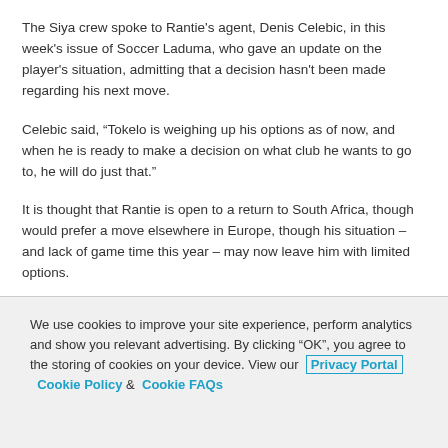The Siya crew spoke to Rantie's agent, Denis Celebic, in this week's issue of Soccer Laduma, who gave an update on the player's situation, admitting that a decision hasn't been made regarding his next move.
Celebic said, “Tokelo is weighing up his options as of now, and when he is ready to make a decision on what club he wants to go to, he will do just that.”
It is thought that Rantie is open to a return to South Africa, though would prefer a move elsewhere in Europe, though his situation – and lack of game time this year – may now leave him with limited options.
We use cookies to improve your site experience, perform analytics and show you relevant advertising. By clicking "OK", you agree to the storing of cookies on your device. View our Privacy Portal  Cookie Policy &  Cookie FAQs